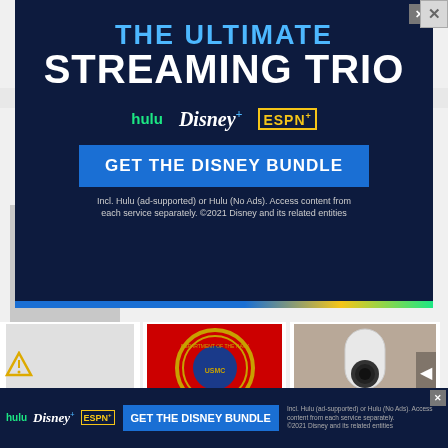[Figure (screenshot): Disney Bundle advertisement banner: dark navy background with 'THE ULTIMATE STREAMING TRIO' headline in blue/white, Hulu, Disney+, ESPN+ logos, 'GET THE DISNEY BUNDLE' CTA button, fine print about Hulu and Disney, with close button.]
[Figure (screenshot): US Marine Corps seal/emblem on red background]
[Figure (screenshot): Person holding a white security camera]
The Sandals for Standing All Day
Camp Lejeune Families
Homeowners Are Trading in Their
[Figure (screenshot): Bottom sticky Disney Bundle ad banner: small Hulu, Disney+, ESPN+ logos on navy background with GET THE DISNEY BUNDLE button and fine print]